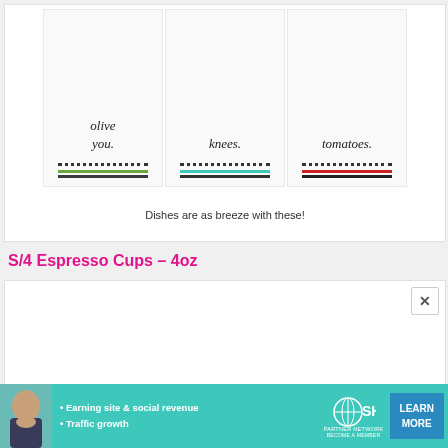[Figure (photo): Three decorative kitchen dish towels displayed side by side. Left towel has 'olive you.' text with green and black stripes. Middle towel has 'knees.' text (bee's knees) with teal and black stripes. Right towel has 'tomatoes.' text with red tomato illustration and red/black stripes.]
Dishes are as breeze with these!
S/4 Espresso Cups – 4oz
[Figure (photo): S/4 Espresso Cups 4oz product image area (blank/loading)]
[Figure (other): Advertisement banner: SHE Partner Network. Bullet points: Earning site & social revenue, Traffic growth. Logo: SHE with globe icon. Button: LEARN MORE. Woman photo on left.]